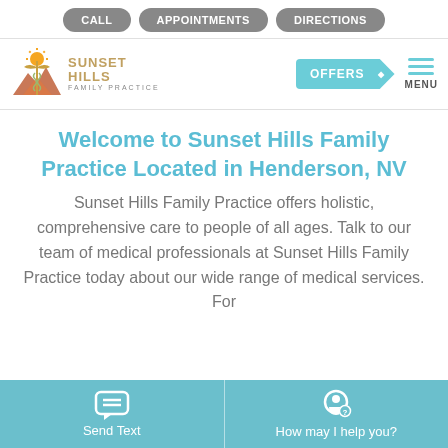CALL | APPOINTMENTS | DIRECTIONS
[Figure (logo): Sunset Hills Family Practice logo with caduceus and sun/mountain imagery]
Welcome to Sunset Hills Family Practice Located in Henderson, NV
Sunset Hills Family Practice offers holistic, comprehensive care to people of all ages. Talk to our team of medical professionals at Sunset Hills Family Practice today about our wide range of medical services. For
Send Text | How may I help you?